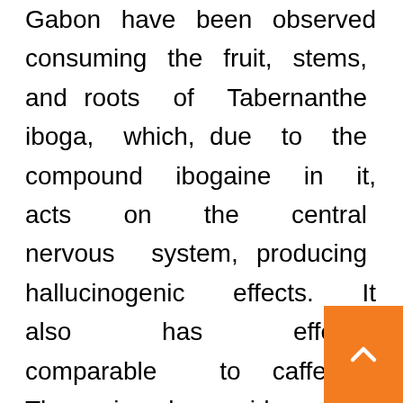Gabon have been observed consuming the fruit, stems, and roots of Tabernanthe iboga, which, due to the compound ibogaine in it, acts on the central nervous system, producing hallucinogenic effects. It also has effects comparable to caffeine. There is also evidence for medicinal value for the seed pods of Aframomum melegueta in lowland gorillas' diets, which seem to have some sort of cardiovascular health benefit for lowland gorillas and are a known part of the natural diets for many wild